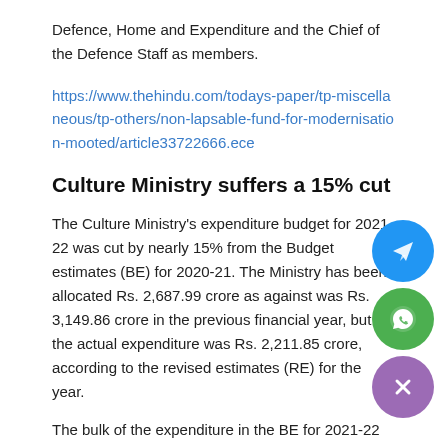Defence, Home and Expenditure and the Chief of the Defence Staff as members.
https://www.thehindu.com/todays-paper/tp-miscellaneous/tp-others/non-lapsable-fund-for-modernisation-mooted/article33722666.ece
Culture Ministry suffers a 15% cut
The Culture Ministry's expenditure budget for 2021-22 was cut by nearly 15% from the Budget estimates (BE) for 2020-21. The Ministry has been allocated Rs. 2,687.99 crore as against was Rs. 3,149.86 crore in the previous financial year, but the actual expenditure was Rs. 2,211.85 crore, according to the revised estimates (RE) for the year.
The bulk of the expenditure in the BE for 2021-22 was under